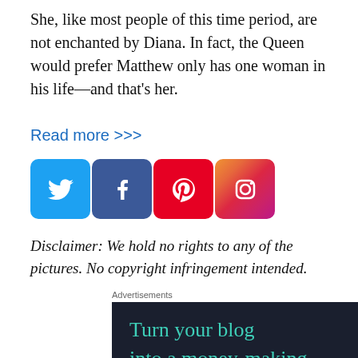She, like most people of this time period, are not enchanted by Diana. In fact, the Queen would prefer Matthew only has one woman in his life—and that's her.
Read more >>>
[Figure (other): Social media icons: Twitter (blue), Facebook (dark blue), Pinterest (red), Instagram (gradient)]
Disclaimer: We hold no rights to any of the pictures. No copyright infringement intended.
Advertisements
[Figure (other): Advertisement with dark background showing text: Turn your blog into a money-making online course.]